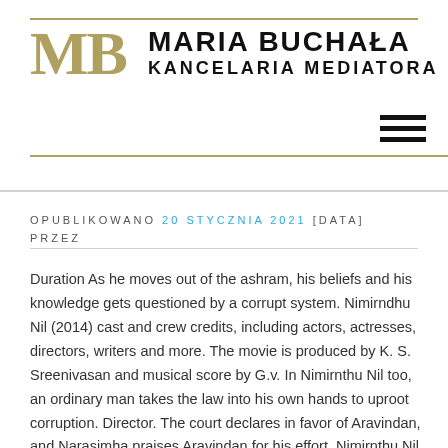MB MARIA BUCHAŁA KANCELARIA MEDIATORA
OPUBLIKOWANO 20 STYCZNIA 2021 [DATA] PRZEZ
Duration As he moves out of the ashram, his beliefs and his knowledge gets questioned by a corrupt system. Nimirndhu Nil (2014) cast and crew credits, including actors, actresses, directors, writers and more. The movie is produced by K. S. Sreenivasan and musical score by G.v. In Nimirnthu Nil too, an ordinary man takes the law into his own hands to uproot corruption. Director. The court declares in favor of Aravindan, and Narasimha praises Aravindan for his effort. Nimirnthu Nil starring Jayam Ravi and Amala Paul in the lead role. (2014). Nassar. He grew up